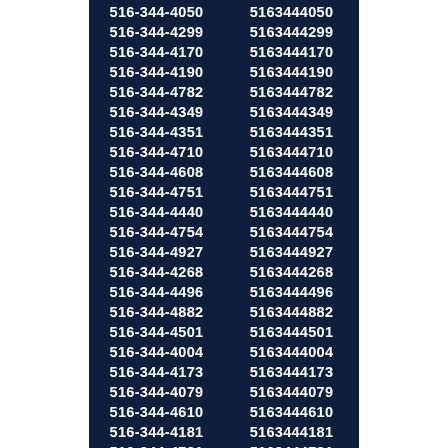| 516-344-4046 | 5163444046 |
| 516-344-4050 | 5163444050 |
| 516-344-4299 | 5163444299 |
| 516-344-4170 | 5163444170 |
| 516-344-4190 | 5163444190 |
| 516-344-4782 | 5163444782 |
| 516-344-4349 | 5163444349 |
| 516-344-4351 | 5163444351 |
| 516-344-4710 | 5163444710 |
| 516-344-4608 | 5163444608 |
| 516-344-4751 | 5163444751 |
| 516-344-4440 | 5163444440 |
| 516-344-4754 | 5163444754 |
| 516-344-4927 | 5163444927 |
| 516-344-4268 | 5163444268 |
| 516-344-4496 | 5163444496 |
| 516-344-4882 | 5163444882 |
| 516-344-4501 | 5163444501 |
| 516-344-4004 | 5163444004 |
| 516-344-4173 | 5163444173 |
| 516-344-4079 | 5163444079 |
| 516-344-4610 | 5163444610 |
| 516-344-4181 | 5163444181 |
| 516-344-4781 | 5163444781 |
| 516-344-4652 | 5163444652 |